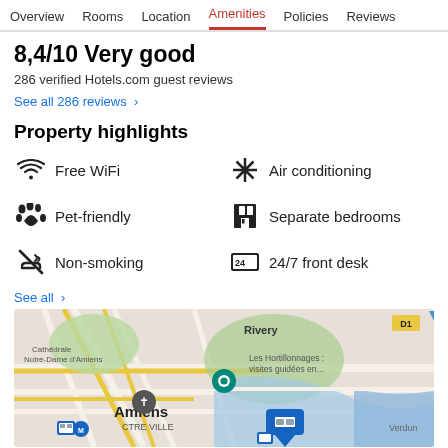Overview  Rooms  Location  Amenities  Policies  Reviews
8,4/10 Very good
286 verified Hotels.com guest reviews
See all 286 reviews  >
Property highlights
Free WiFi
Air conditioning
Pet-friendly
Separate bedrooms
Non-smoking
24/7 front desk
See all  >
[Figure (map): Google Maps view showing Amiens city center, Cathédrale Notre-Dame d'Amiens, Les Hortillonnages, Rivery area, with hotel pin marker and transit icons]